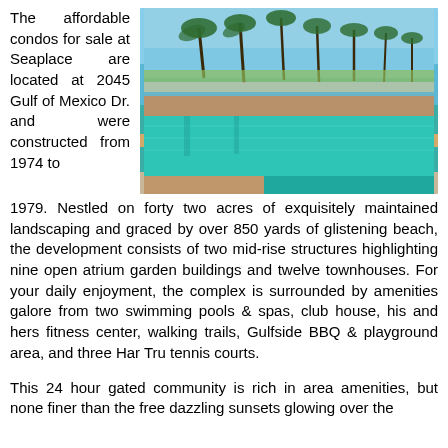The affordable condos for sale at Seaplace are located at 2045 Gulf of Mexico Dr. and were constructed from 1974 to 1979. Nestled on forty two acres of exquisitely maintained landscaping and graced by over 850 yards of glistening beach, the development consists of two mid-rise structures highlighting nine open atrium garden buildings and twelve townhouses. For your daily enjoyment, the complex is surrounded by amenities galore from two swimming pools & spas, club house, his and hers fitness center, walking trails, Gulfside BBQ & playground area, and three Har Tru tennis courts.
[Figure (photo): Outdoor swimming pool at Seaplace condos with clear turquoise water, lounge chairs, palm trees, and ocean/beach visible in the background under a blue sky.]
This 24 hour gated community is rich in area amenities, but none finer than the free dazzling sunsets glowing over the